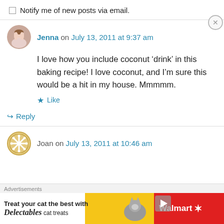Notify me of new posts via email.
Jenna on July 13, 2011 at 9:37 am
I love how you include coconut ‘drink’ in this baking recipe! I love coconut, and I’m sure this would be a hit in my house. Mmmmm.
★ Like
↪ Reply
Joan on July 13, 2011 at 10:46 am
Advertisements
[Figure (other): Walmart Delectables cat treats advertisement banner]